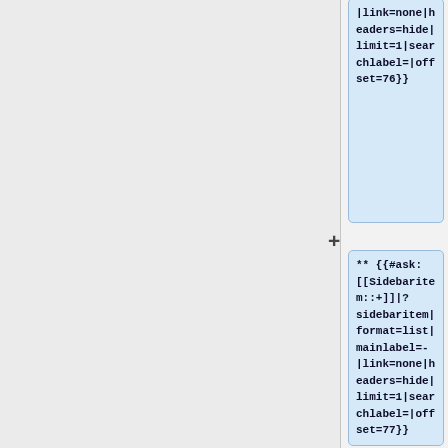|link=none|headers=hide|limit=1|searchlabel=|offset=76}}
** {{#ask: [[Sidebaritem::+]]|?sidebaritem|format=list|mainlabel=-|link=none|headers=hide|limit=1|searchlabel=|offset=77}}
** {{#ask: [[Sidebaritem::+]]|?sidebaritem|format=list|